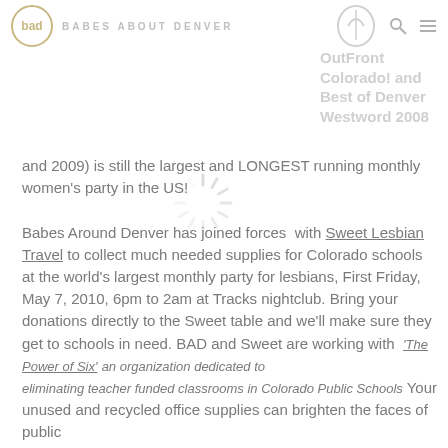[Figure (logo): BAD logo with stylized circular badge on left, 'BABES ABOUT DENVER' text in light gray, and a decorative circular logo on the right side of header with search and menu icons]
OutFront Colorado! and Best of Denver Westword 2008 and 2009) is still the largest and LONGEST running monthly women's party in the US!
Babes Around Denver has joined forces  with Sweet Lesbian Travel to collect much needed supplies for Colorado schools at the world's largest monthly party for lesbians, First Friday, May 7, 2010, 6pm to 2am at Tracks nightclub. Bring your donations directly to the Sweet table and we'll make sure they get to schools in need. BAD and Sweet are working with  'The Power of Six'  an organization dedicated to eliminating teacher funded classrooms in Colorado Public Schools Your unused and recycled office supplies can brighten the faces of public